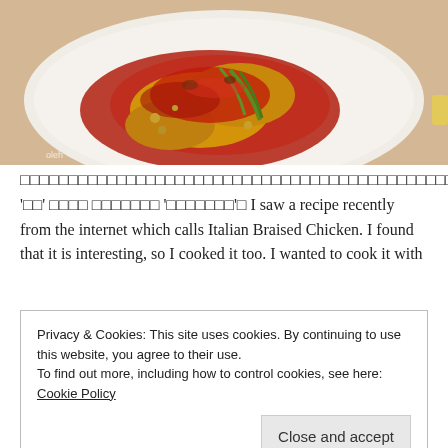[Figure (photo): A white plate with Italian Braised Chicken in red tomato sauce with green onions, photographed from above on a light wooden surface. Watermark text visible in bottom-left corner.]
□□□□□□□□□□□□□□□□□□□□□□□□□□□□□□□□□□□□□□□□□□□□□□□□□ '□□' □□□□ □□□□□□□ '□□□□□□□'□ I saw a recipe recently from the internet which calls Italian Braised Chicken. I found that it is interesting, so I cooked it too. I wanted to cook it with
Privacy & Cookies: This site uses cookies. By continuing to use this website, you agree to their use.
To find out more, including how to control cookies, see here: Cookie Policy

Close and accept